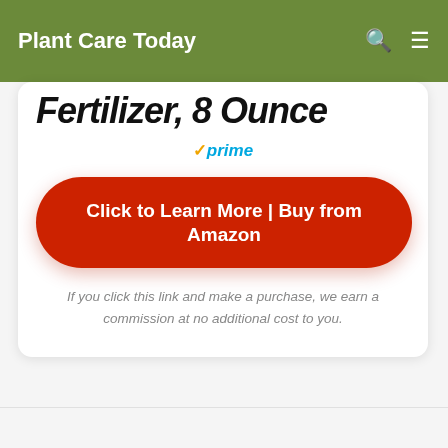Plant Care Today
Fertilizer, 8 Ounce
prime
Click to Learn More | Buy from Amazon
If you click this link and make a purchase, we earn a commission at no additional cost to you.